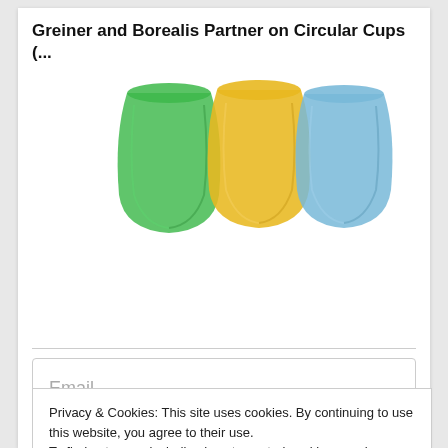Greiner and Borealis Partner on Circular Cups (...
[Figure (photo): Three plastic bags: green, yellow, and blue, hanging or displayed against a white background]
Email
Privacy & Cookies: This site uses cookies. By continuing to use this website, you agree to their use. To find out more, including how to control cookies, see here: Cookie Policy
Close and accept
AWARDS